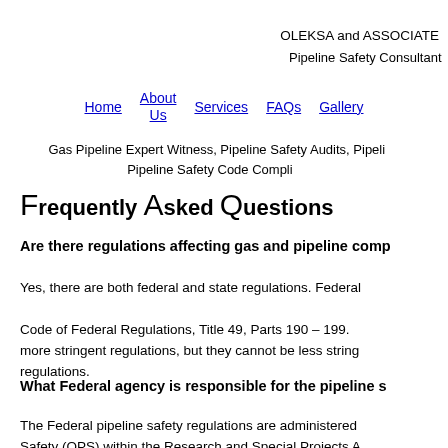OLEKSA and ASSOCIATES
Pipeline Safety Consultants
Home  About Us  Services  FAQs  Gallery
Gas Pipeline Expert Witness, Pipeline Safety Audits, Pipeline Safety Code Compliance
Frequently Asked Questions
Are there regulations affecting gas and pipeline companies?
Yes, there are both federal and state regulations. Federal regulations are found in the Code of Federal Regulations, Title 49, Parts 190 – 199. States may adopt more stringent regulations, but they cannot be less stringent than the federal regulations.
What Federal agency is responsible for the pipeline safety regulations?
The Federal pipeline safety regulations are administered by the Office of Pipeline Safety (OPS) within the Research and Special Projects Administration...